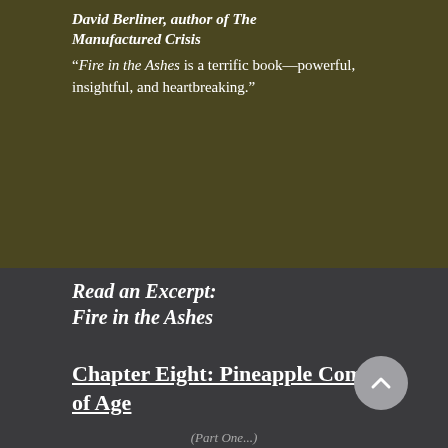David Berliner, author of The Manufactured Crisis
"Fire in the Ashes is a terrific book—powerful, insightful, and heartbreaking."
Read an Excerpt: Fire in the Ashes
Chapter Eight: Pineapple Comes of Age